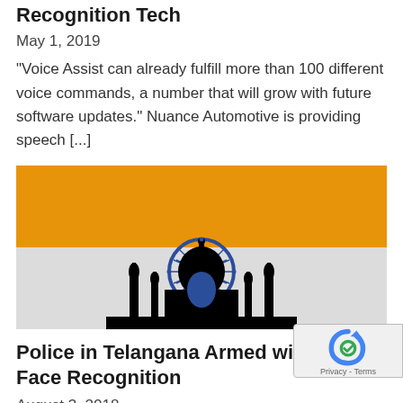Recognition Tech
May 1, 2019
"Voice Assist can already fulfill more than 100 different voice commands, a number that will grow with future software updates." Nuance Automotive is providing speech [...]
[Figure (illustration): Stylized illustration of the Indian flag colors (saffron/orange top band, white/light middle band with a silhouette of the Taj Mahal and Ashoka Chakra) representing India]
Police in Telangana Armed with Mobile Face Recognition
August 3, 2018
Police in the Indian state of Telangana are now using mobile facial recognition technology in the field. The new